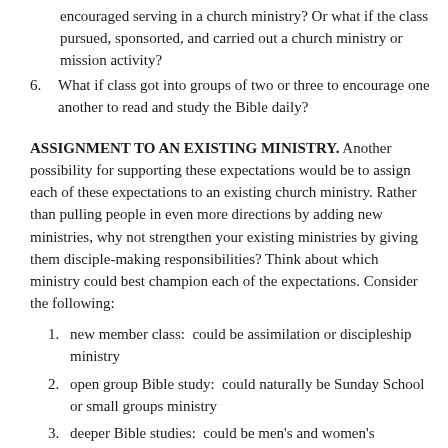encouraged serving in a church ministry? Or what if the class pursued, sponsorted, and carried out a church ministry or mission activity?
6. What if class got into groups of two or three to encourage one another to read and study the Bible daily?
ASSIGNMENT TO AN EXISTING MINISTRY. Another possibility for supporting these expectations would be to assign each of these expectations to an existing church ministry. Rather than pulling people in even more directions by adding new ministries, why not strengthen your existing ministries by giving them disciple-making responsibilities? Think about which ministry could best champion each of the expectations. Consider the following:
1. new member class:  could be assimilation or discipleship ministry
2. open group Bible study:  could naturally be Sunday School or small groups ministry
3. deeper Bible studies:  could be men's and women's ministry,